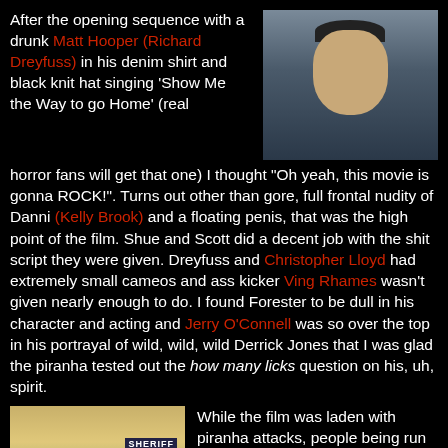After the opening sequence with a drunk Matt Hooper (Richard Dreyfuss) in his denim shirt and black knit hat singing 'Show Me the Way to go Home' (real horror fans will get that one) I thought "Oh yeah, this movie is gonna ROCK!". Turns out other than gore, full frontal nudity of Danni (Kelly Brook) and a floating penis, that was the high point of the film. Shue and Scott did a decent job with the shit script they were given. Dreyfuss and Christopher Lloyd had extremely small cameos and ass kicker Ving Rhames wasn't given nearly enough to do. I found Forester to be dull in his character and acting and Jerry O'Connell was so over the top in his portrayal of wild, wild, wild Derrick Jones that I was glad the piranha tested out the how many licks question on his, uh, spirit.
[Figure (photo): Photo of an older man wearing a dark knit hat, appears to be on a boat near water]
[Figure (photo): Photo of people near a Sheriff vehicle outdoors]
While the film was laden with piranha attacks, people being run over by